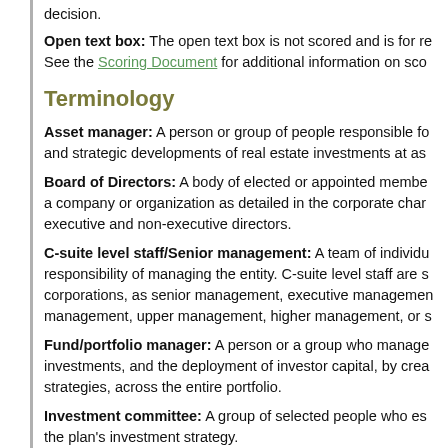decision.
Open text box: The open text box is not scored and is for re See the Scoring Document for additional information on sco
Terminology
Asset manager: A person or group of people responsible fo and strategic developments of real estate investments at as
Board of Directors: A body of elected or appointed membe a company or organization as detailed in the corporate char executive and non-executive directors.
C-suite level staff/Senior management: A team of individu responsibility of managing the entity. C-suite level staff are s corporations, as senior management, executive managemen management, upper management, higher management, or s
Fund/portfolio manager: A person or a group who manage investments, and the deployment of investor capital, by crea strategies, across the entire portfolio.
Investment committee: A group of selected people who es the plan's investment strategy.
Person accountable: A person with sign off (approval) auth or strategy. The accountable person can delegate the work t work on the implementation and completion of the task, proi